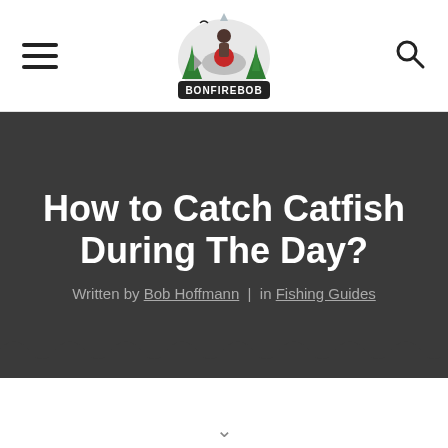BonfireBob — navigation header with hamburger menu and search icon
How to Catch Catfish During The Day?
Written by Bob Hoffmann | in Fishing Guides